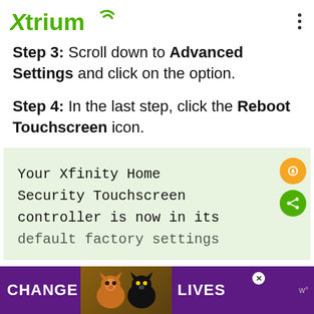Xtrium
Step 3: Scroll down to Advanced Settings and click on the option.
Step 4: In the last step, click the Reboot Touchscreen icon.
Your Xfinity Home Security Touchscreen controller is now in its default factory settings
[Figure (illustration): Advertisement banner showing two cats with text CHANGE LIVES on purple background]